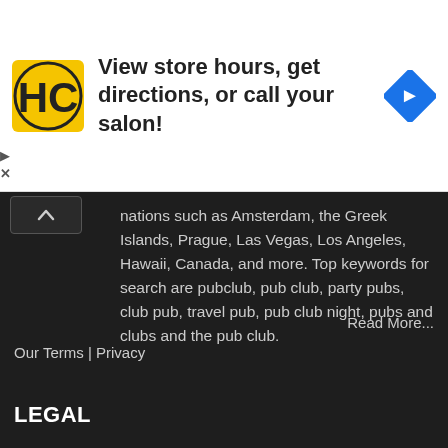[Figure (infographic): Advertisement banner with HC logo, text 'View store hours, get directions, or call your salon!', and a blue diamond navigation icon]
nations such as Amsterdam, the Greek Islands, Prague, Las Vegas, Los Angeles, Hawaii, Canada, and more. Top keywords for search are pubclub, pub club, party pubs, club pub, travel pub, pub club night, pubs and clubs and the pub club.
Read More...
Our Terms | Privacy
LEGAL
FEATURED VIDEO: THE PUBCLUB SONG
The PubClub Song By Evyn Charles!
[Figure (screenshot): Video thumbnail showing a coin/medallion image on dark background]